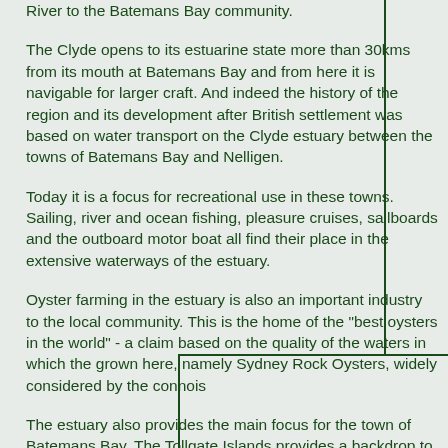River to the Batemans Bay community.
The Clyde opens to its estuarine state more than 30kms from its mouth at Batemans Bay and from here it is navigable for larger craft. And indeed the history of the region and its development after British settlement was based on water transport on the Clyde estuary between the towns of Batemans Bay and Nelligen.
Today it is a focus for recreational use in these towns. Sailing, river and ocean fishing, pleasure cruises, sailboards and the outboard motor boat all find their place in the extensive waterways of the estuary.
Oyster farming in the estuary is also an important industry to the local community. This is the home of the "best oysters in the world" - a claim based on the quality of the waters in which the grown here, namely Sydney Rock Oysters, widely considered by the connois
The estuary also provides the main focus for the town of Batemans Bay. The Tollgate Islands provides a backdrop to the most attractive town on the NSW and coffee shops have been sited to make the most of this beautiful estuary, remain in their memories.